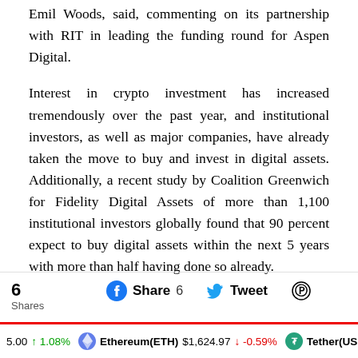Emil Woods, said, commenting on its partnership with RIT in leading the funding round for Aspen Digital.
Interest in crypto investment has increased tremendously over the past year, and institutional investors, as well as major companies, have already taken the move to buy and invest in digital assets. Additionally, a recent study by Coalition Greenwich for Fidelity Digital Assets of more than 1,100 institutional investors globally found that 90 percent expect to buy digital assets within the next 5 years with more than half having done so already.
6 Shares | Share 6 | Tweet | Pinterest | Ethereum(ETH) $1,624.97 -0.59% | Tether(US...